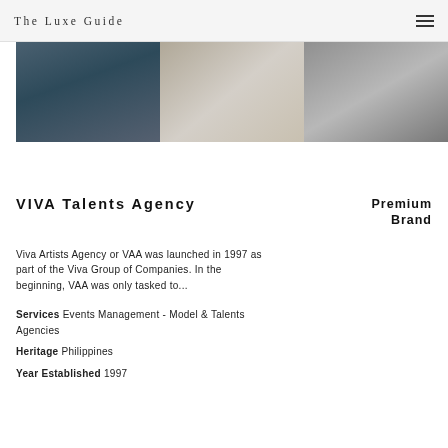The Luxe Guide
[Figure (photo): Three cropped fashion/model photos side by side: first shows denim-clad torso, second shows a silver/metallic top close-up, third shows a white draped garment close-up]
VIVA Talents Agency
Premium Brand
Viva Artists Agency or VAA was launched in 1997 as part of the Viva Group of Companies. In the beginning, VAA was only tasked to...
Services Events Management - Model & Talents Agencies
Heritage Philippines
Year Established 1997